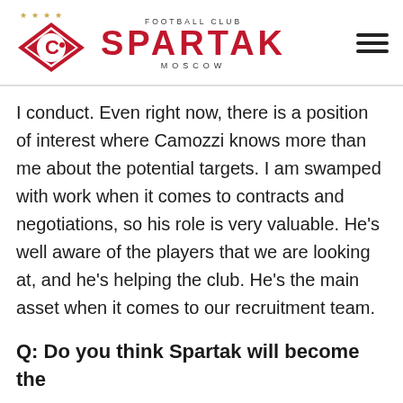[Figure (logo): Spartak Moscow Football Club logo with diamond shape, letter C with football, four gold stars above, red and white colors, and club name 'FOOTBALL CLUB SPARTAK MOSCOW' in header]
I conduct. Even right now, there is a position of interest where Camozzi knows more than me about the potential targets. I am swamped with work when it comes to contracts and negotiations, so his role is very valuable. He's well aware of the players that we are looking at, and he's helping the club. He's the main asset when it comes to our recruitment team.
Q: Do you think Spartak will become the